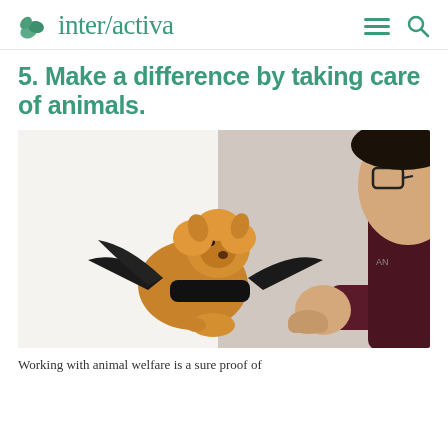inter/activa
5. Make a difference by taking care of animals.
[Figure (photo): A man with glasses wearing a dark maroon long-sleeve shirt interacting with a small Pomeranian dog dressed in a black bat costume/wings. The man is reaching out and appears to be holding the dog's paw. White studio background.]
Working with animal welfare is a sure proof of